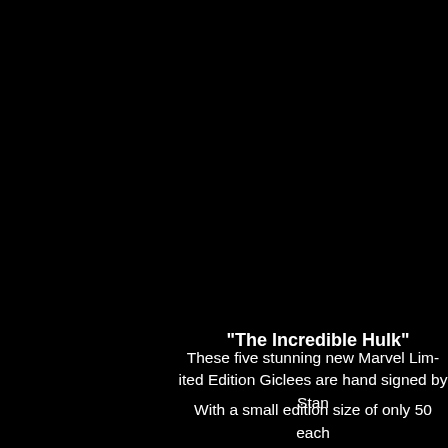[Figure (photo): Mostly black background image, likely a dark illustration or photo of The Incredible Hulk, filling the upper and left portions of the page.]
"The Incredible Hulk"
These five stunning new Marvel Lim- ited Edition Giclees are hand signed by Stan...
With a small edition size of only 50 each...